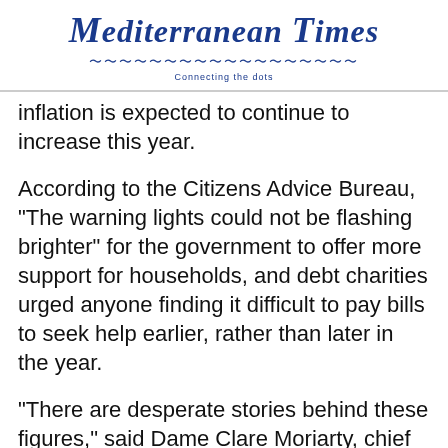Mediterranean Times — Connecting the dots
inflation is expected to continue to increase this year.
According to the Citizens Advice Bureau, "The warning lights could not be flashing brighter" for the government to offer more support for households, and debt charities urged anyone finding it difficult to pay bills to seek help earlier, rather than later in the year.
"There are desperate stories behind these figures," said Dame Clare Moriarty, chief executive of Citizens Advice.
Further, the Office for National Statistics said some three-quarters of the increase in inflation in April came from higher electricity and gas bills.